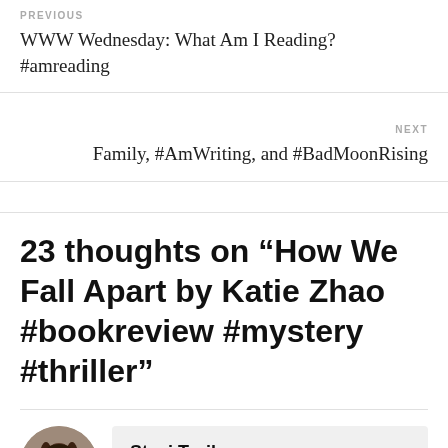PREVIOUS
WWW Wednesday: What Am I Reading? #amreading
NEXT
Family, #AmWriting, and #BadMoonRising
23 thoughts on “How We Fall Apart by Katie Zhao #bookreview #mystery #thriller”
Staci Troilo